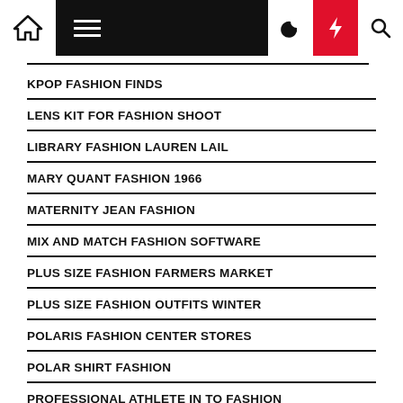Navigation bar with home, menu, moon, lightning, and search icons
KPOP FASHION FINDS
LENS KIT FOR FASHION SHOOT
LIBRARY FASHION LAUREN LAIL
MARY QUANT FASHION 1966
MATERNITY JEAN FASHION
MIX AND MATCH FASHION SOFTWARE
PLUS SIZE FASHION FARMERS MARKET
PLUS SIZE FASHION OUTFITS WINTER
POLARIS FASHION CENTER STORES
POLAR SHIRT FASHION
PROFESSIONAL ATHLETE IN TO FASHION